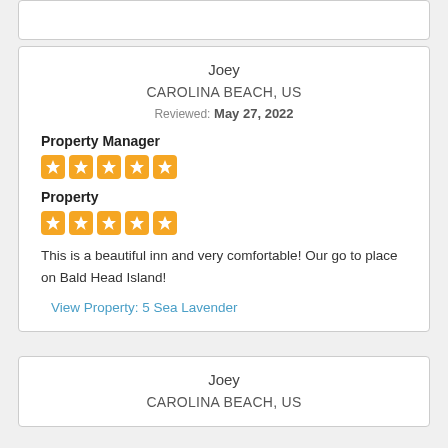(partial top card — cut off at top)
Joey
CAROLINA BEACH, US
Reviewed: May 27, 2022
Property Manager
[Figure (other): 5 orange stars rating for Property Manager]
Property
[Figure (other): 5 orange stars rating for Property]
This is a beautiful inn and very comfortable! Our go to place on Bald Head Island!
View Property: 5 Sea Lavender
Joey
CAROLINA BEACH, US